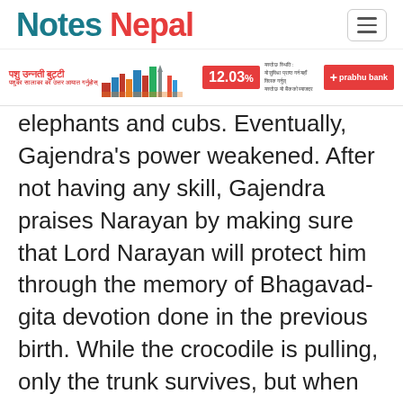Notes Nepal
[Figure (infographic): Advertisement banner with Nepali text 'पशु उन्नती बुट्टी' with city skyline illustration on left, and Prabhu Bank ad with 12.03% rate on right]
elephants and cubs. Eventually, Gajendra's power weakened. After not having any skill, Gajendra praises Narayan by making sure that Lord Narayan will protect him through the memory of Bhagavad-gita devotion done in the previous birth. While the crocodile is pulling, only the trunk survives, but when Lord Narayan climbs on the eagle, the trunk picks a